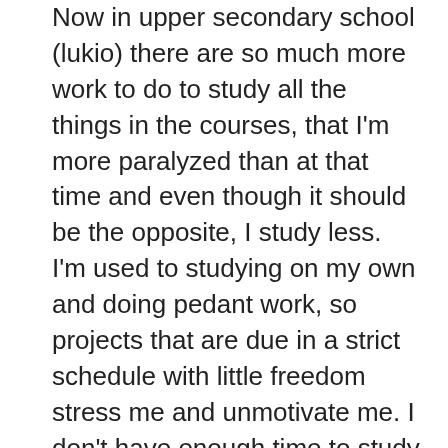Now in upper secondary school (lukio) there are so much more work to do to study all the things in the courses, that I'm more paralyzed than at that time and even though it should be the opposite, I study less. I'm used to studying on my own and doing pedant work, so projects that are due in a strict schedule with little freedom stress me and unmotivate me. I don't have enough time to study at the extend I would want to! Also in upper secondary school somewhat over a half of the exercises done during classes are done in pairs or groups, and that tires me. Finnish school system is not only easy and efficient. If you end up going academic, it's definitely efficient and definitely requires hard work. To study perfectly for a course that has classes 3 times 75 minutes a week, one